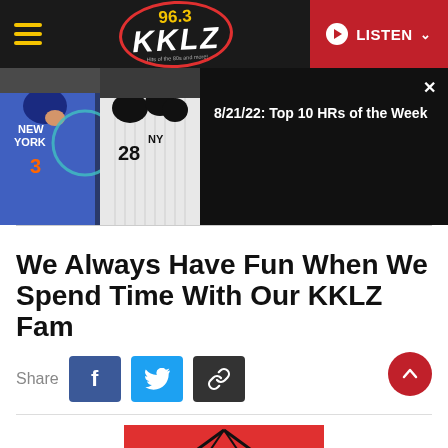96.3 KKLZ | LISTEN
[Figure (screenshot): Video thumbnail showing baseball players (Mets and Yankees) celebrating, with video title '8/21/22: Top 10 HRs of the Week' on a dark background]
We Always Have Fun When We Spend Time With Our KKLZ Fam
Share
[Figure (photo): Partially visible photo at bottom showing a red KKLZ branded tent/canopy]